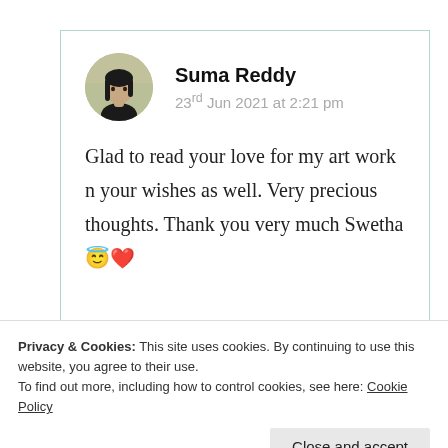[Figure (photo): Circular avatar photo of a young woman with long dark hair against a blurred outdoor background]
Suma Reddy
23rd Jun 2021 at 2:21 pm
Glad to read your love for my art work n your wishes as well. Very precious thoughts. Thank you very much Swetha😇❤️
Privacy & Cookies: This site uses cookies. By continuing to use this website, you agree to their use.
To find out more, including how to control cookies, see here: Cookie Policy
Close and accept